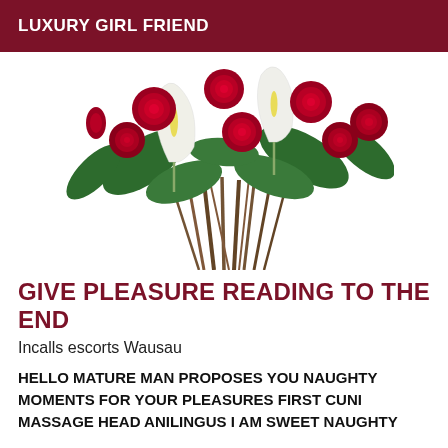LUXURY GIRL FRIEND
[Figure (photo): A bouquet of red roses and white calla lilies with green leaves, tied at the stems, photographed on a white background.]
GIVE PLEASURE READING TO THE END
Incalls escorts Wausau
HELLO MATURE MAN PROPOSES YOU NAUGHTY MOMENTS FOR YOUR PLEASURES FIRST CUNI MASSAGE HEAD ANILINGUS I AM SWEET NAUGHTY